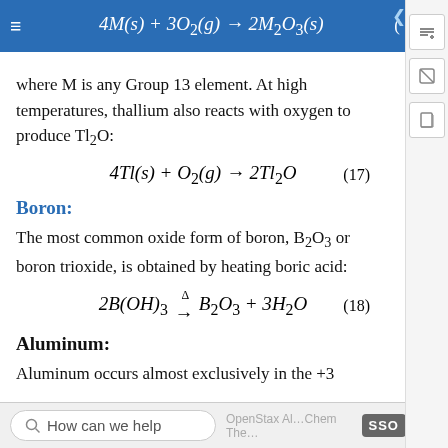4M(s) + 3O2(g) → 2M2O3(s)
where M is any Group 13 element. At high temperatures, thallium also reacts with oxygen to produce Tl2O:
Boron:
The most common oxide form of boron, B2O3 or boron trioxide, is obtained by heating boric acid:
Aluminum:
Aluminum occurs almost exclusively in the +3
How can we help